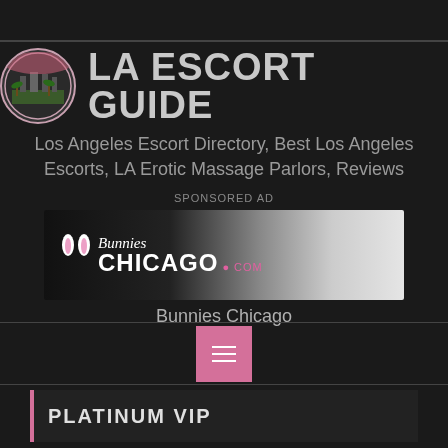LA ESCORT GUIDE
Los Angeles Escort Directory, Best Los Angeles Escorts, LA Erotic Massage Parlors, Reviews
SPONSORED AD
[Figure (illustration): Bunnies Chicago advertisement banner with logo and suggestive photo]
Bunnies Chicago
[Figure (other): Pink hamburger menu button]
PLATINUM VIP
[Figure (photo): Partial photo at bottom of page]